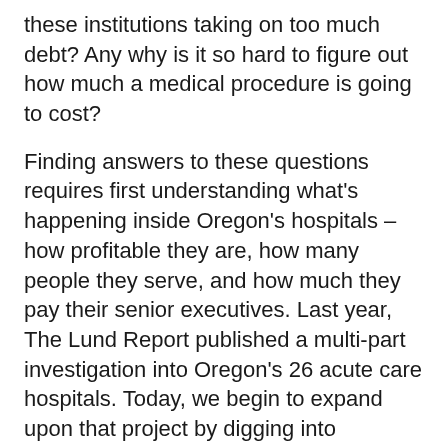these institutions taking on too much debt? Any why is it so hard to figure out how much a medical procedure is going to cost?
Finding answers to these questions requires first understanding what's happening inside Oregon's hospitals – how profitable they are, how many people they serve, and how much they pay their senior executives. Last year, The Lund Report published a multi-part investigation into Oregon's 26 acute care hospitals. Today, we begin to expand upon that project by digging into additional data sources and looking at all 60 hospitals – both nonprofit and for profit -- in the state.
By: Courtney Sherwood